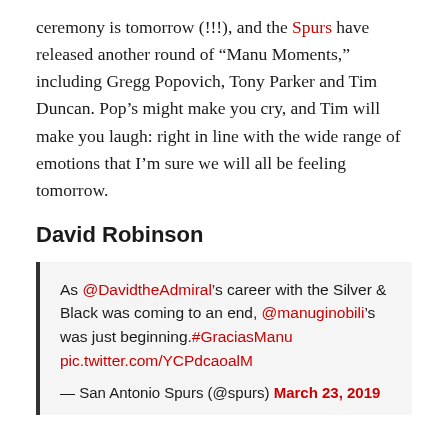ceremony is tomorrow (!!!), and the Spurs have released another round of “Manu Moments,” including Gregg Popovich, Tony Parker and Tim Duncan. Pop’s might make you cry, and Tim will make you laugh: right in line with the wide range of emotions that I’m sure we will all be feeling tomorrow.
David Robinson
As @DavidtheAdmiral’s career with the Silver & Black was coming to an end, @manuginobili’s was just beginning.#GraciasManu pic.twitter.com/YCPdcaoalM

— San Antonio Spurs (@spurs) March 23, 2019